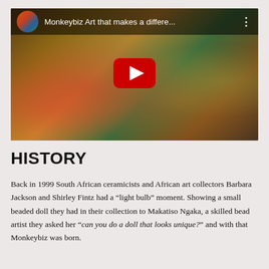[Figure (screenshot): YouTube video embed showing colorful African art figurines and beaded dolls displayed outdoors. Top bar shows video thumbnail circle, title 'Monkeybiz Art that makes a differe...' and three-dot menu. Center shows red YouTube play button.]
HISTORY
Back in 1999 South African ceramicists and African art collectors Barbara Jackson and Shirley Fintz had a “light bulb” moment. Showing a small beaded doll they had in their collection to Makatiso Ngaka, a skilled bead artist they asked her “can you do a doll that looks unique?” and with that Monkeybiz was born.